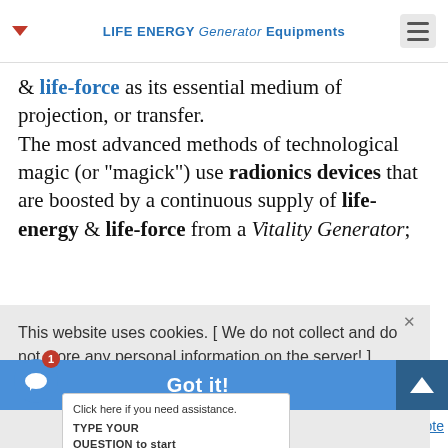LIFE ENERGY Generator Equipments
& life-force as its essential medium of projection, or transfer. The most advanced methods of technological magic (or "magick") use radionics devices that are boosted by a continuous supply of life-energy & life-force from a Vitality Generator;
This website uses cookies. [ We do not collect and do not store any personal information on the server! ]
...more information... [Cookie Policy & GDPR Statement (Data Protection
Click here if you need assistance. TYPE YOUR QUESTION to start the Chat!
Got it!
an eternal and fundamental principle, inherent in all